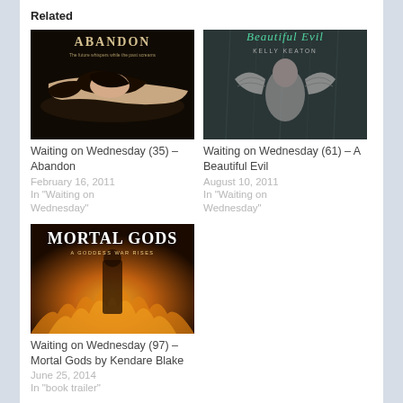Related
[Figure (illustration): Book cover for Abandon showing a young woman lying down with dark hair, dark background, title text Abandon at top]
Waiting on Wednesday (35) – Abandon
February 16, 2011
In "Waiting on Wednesday"
[Figure (illustration): Book cover for Beautiful Evil by Kelly Keaton showing an angel figure from behind with stone-like wings, title text Beautiful Evil in teal at top]
Waiting on Wednesday (61) – A Beautiful Evil
August 10, 2011
In "Waiting on Wednesday"
[Figure (illustration): Book cover for Mortal Gods showing fiery golden background with white title text Mortal Gods and subtitle A Goddess War Begins]
Waiting on Wednesday (97) – Mortal Gods by Kendare Blake
June 25, 2014
In "book trailer"